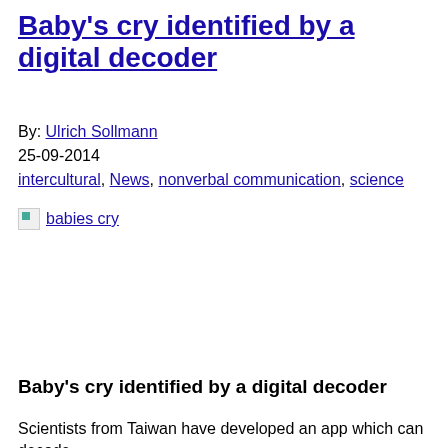Baby's cry identified by a digital decoder
By: Ulrich Sollmann
25-09-2014
intercultural, News, nonverbal communication, science
[Figure (photo): Broken image placeholder labeled 'babies cry']
Baby's cry identified by a digital decoder
Scientists from Taiwan have developed an app which can decode